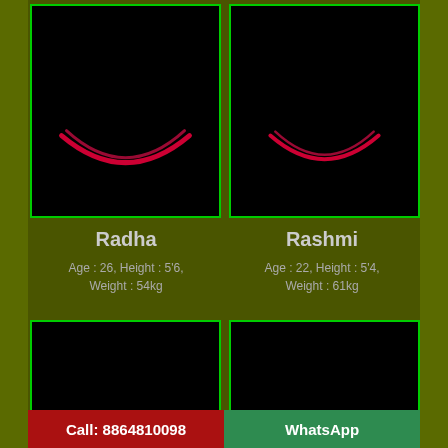[Figure (photo): Black background with a red crescent/smile shape — profile photo placeholder for Radha]
[Figure (photo): Black background with a red crescent/smile shape — profile photo placeholder for Rashmi]
Radha
Age : 26, Height : 5'6, Weight : 54kg
Rashmi
Age : 22, Height : 5'4, Weight : 61kg
[Figure (photo): Black background — bottom left photo placeholder]
[Figure (photo): Black background — bottom right photo placeholder]
Call: 8864810098
WhatsApp